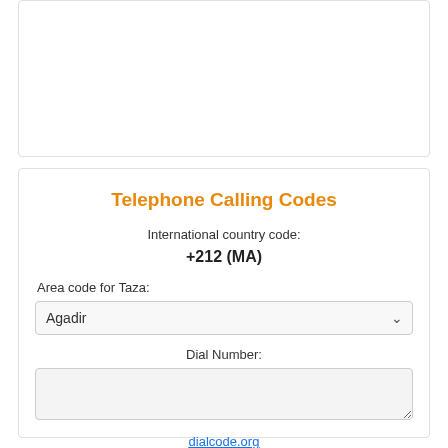Telephone Calling Codes
International country code:
+212 (MA)
Area code for Taza:
Agadir
Dial Number:
dialcode.org
See area codes for dialing in Morocco